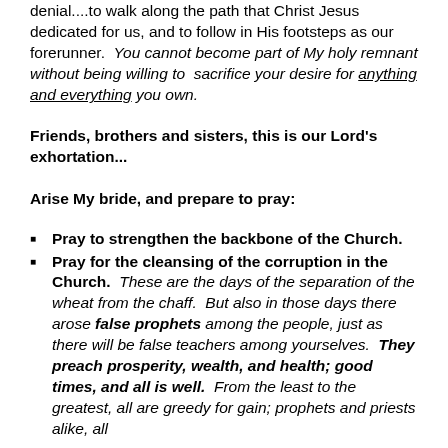denial....to walk along the path that Christ Jesus dedicated for us, and to follow in His footsteps as our forerunner.  You cannot become part of My holy remnant without being willing to sacrifice your desire for anything and everything you own.
Friends, brothers and sisters, this is our Lord's exhortation...
Arise My bride, and prepare to pray:
Pray to strengthen the backbone of the Church.
Pray for the cleansing of the corruption in the Church.  These are the days of the separation of the wheat from the chaff.  But also in those days there arose false prophets among the people, just as there will be false teachers among yourselves.  They preach prosperity, wealth, and health; good times, and all is well.  From the least to the greatest, all are greedy for gain; prophets and priests alike, all